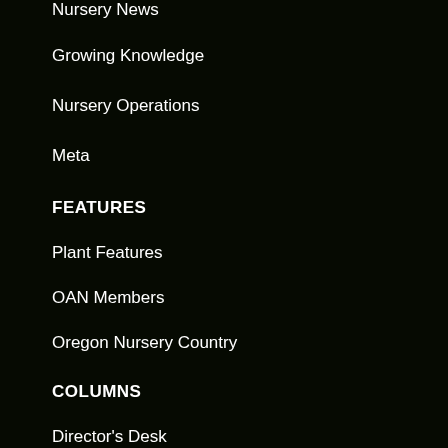Nursery News
Growing Knowledge
Nursery Operations
Meta
FEATURES
Plant Features
OAN Members
Oregon Nursery Country
COLUMNS
Director's Desk
Mike Darcy
Pivot Points
President's Message